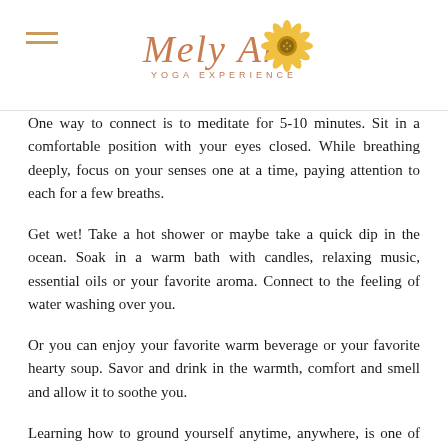Mely Ann Yoga Experience
One way to connect is to meditate for 5-10 minutes. Sit in a comfortable position with your eyes closed. While breathing deeply, focus on your senses one at a time, paying attention to each for a few breaths.
Get wet! Take a hot shower or maybe take a quick dip in the ocean. Soak in a warm bath with candles, relaxing music, essential oils or your favorite aroma. Connect to the feeling of water washing over you.
Or you can enjoy your favorite warm beverage or your favorite hearty soup. Savor and drink in the warmth, comfort and smell and allow it to soothe you.
Learning how to ground yourself anytime, anywhere, is one of the most helpful and useful skills for a lifetime of inner calm, health and resilience. By centering yourself amidst the chaos of life, you can let circumstances come